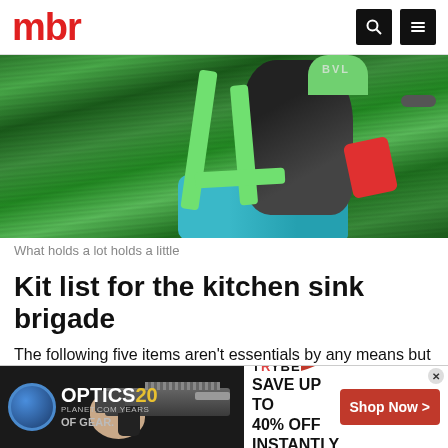mbr
[Figure (photo): Cyclist from above/behind wearing a green EVOC backpack with green straps and a blue cycling jersey, motion-blurred green forest background]
What holds a lot holds a little
Kit list for the kitchen sink brigade
The following five items aren't essentials by any means but they can be rather nice to have with you sometimes.
Feel free to leave them out if your backpack is already feeling a bit heavy with everything else listed above stuffed inside it.
[Figure (photo): Advertisement banner: Optics Planet 20 years logo on left with a firearm/rifle photo, Trybe logo with 'SAVE UP TO 40% OFF INSTANTLY' text and a red 'Shop Now >' button on right]